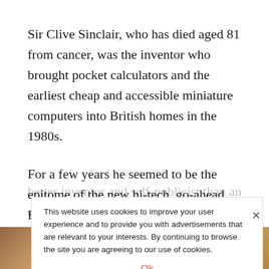Sir Clive Sinclair, who has died aged 81 from cancer, was the inventor who brought pocket calculators and the earliest cheap and accessible miniature computers into British homes in the 1980s.
For a few years he seemed to be the epitome of the new hi-tech, go-ahead Britain the Tory government was striving to promote. He was made businessman of the year, knighted, championed by Margaret Thatcher and became, briefly, a multimillionaire. But, proving a
better inventor and self-publicist than an entrepreneur, his credibility collapsed, and in 1985 with the invention of the C5, his prototype electric car
This website uses cookies to improve your user experience and to provide you with advertisements that are relevant to your interests. By continuing to browse the site you are agreeing to our use of cookies.
Ok
[Figure (photo): Partial photo strip at the bottom of the page showing blurred warm-toned images, likely related to Sir Clive Sinclair or the C5 electric car.]